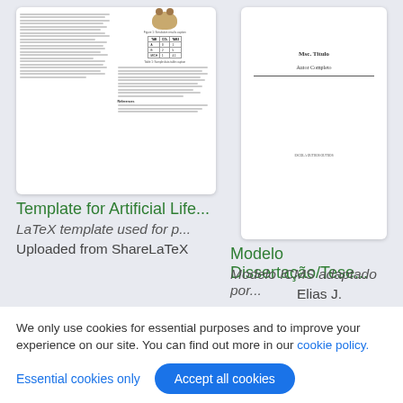[Figure (screenshot): Preview thumbnail of a LaTeX template document for Artificial Life with multi-column text, a figure of an animal, and a small table.]
[Figure (screenshot): Preview thumbnail of a Modelo Dissertação/Tese document showing a title page with 'Msc. Titulo' and 'Autor Completo'.]
Template for Artificial Life...
LaTeX template used for p...
Uploaded from ShareLaTeX
Modelo Dissertação/Tese...
Modelo ICMS adaptado por...
Elias J.
[Figure (screenshot): Preview thumbnail of 'A Sample Proceedings of the VLDB Endowment Paper in LaTeX Format' with author names in multiple columns.]
[Figure (circuit-diagram): Preview thumbnail of an electronic circuit diagram with an op-amp, resistors, capacitors, and a voltage source, with an equation on the right.]
We only use cookies for essential purposes and to improve your experience on our site. You can find out more in our cookie policy.
Essential cookies only
Accept all cookies